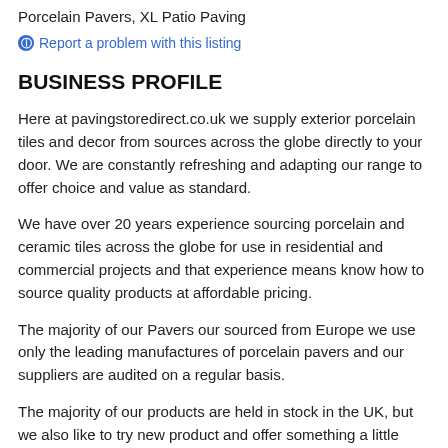Porcelain Pavers, XL Patio Paving
Report a problem with this listing
BUSINESS PROFILE
Here at pavingstoredirect.co.uk we supply exterior porcelain tiles and decor from sources across the globe directly to your door. We are constantly refreshing and adapting our range to offer choice and value as standard.
We have over 20 years experience sourcing porcelain and ceramic tiles across the globe for use in residential and commercial projects and that experience means know how to source quality products at affordable pricing.
The majority of our Pavers our sourced from Europe we use only the leading manufactures of porcelain pavers and our suppliers are audited on a regular basis.
The majority of our products are held in stock in the UK, but we also like to try new product and offer something a little different occasionally and these products we literally ship from the factory to your door and of course these are